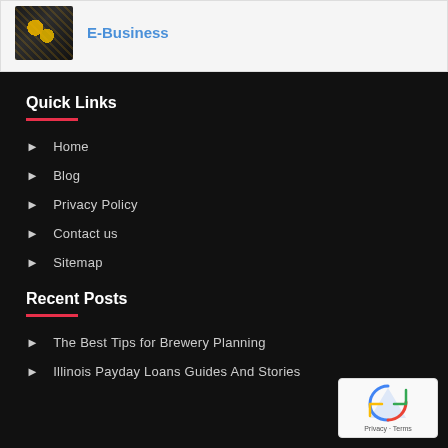[Figure (photo): Thumbnail image of Bitcoin/cryptocurrency coins on a dark background with chart data]
E-Business
Quick Links
Home
Blog
Privacy Policy
Contact us
Sitemap
Recent Posts
The Best Tips for Brewery Planning
Illinois Payday Loans Guides And Stories